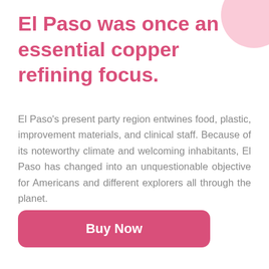El Paso was once an essential copper refining focus.
El Paso's present party region entwines food, plastic, improvement materials, and clinical staff. Because of its noteworthy climate and welcoming inhabitants, El Paso has changed into an unquestionable objective for Americans and different explorers all through the planet.
Buy Now